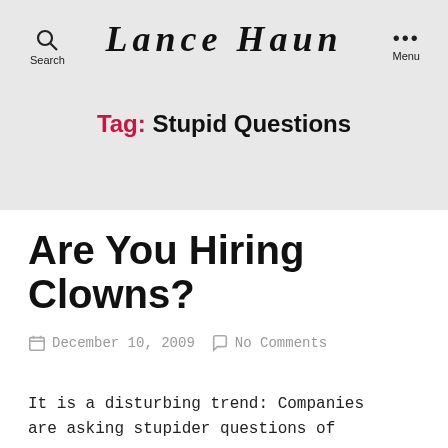Search | Lance Haun | Menu
Tag: Stupid Questions
Are You Hiring Clowns?
December 10, 2009   No Comments
It is a disturbing trend: Companies are asking stupider questions of